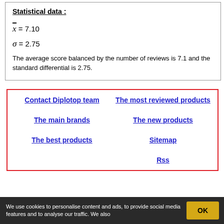Statistical data :
The average score balanced by the number of reviews is 7.1 and the standard differential is 2.75.
Contact Diplotop team
The most reviewed products
The main brands
The new products
The best products
Sitemap
Rss
References starting with letter A
We use cookies to personalise content and ads, to provide social media features and to analyse our traffic. We also
OK